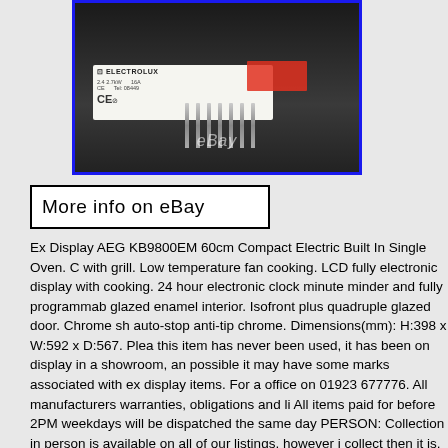[Figure (photo): Photo of the back of an Electrolux oven showing a white label with CE mark and model information, a red sticker, and metal prongs/heating elements. eBay watermark visible.]
More info on eBay
Ex Display AEG KB9800EM 60cm Compact Electric Built In Single Oven. C with grill. Low temperature fan cooking. LCD fully electronic display with cooking. 24 hour electronic clock minute minder and fully programmab glazed enamel interior. Isofront plus quadruple glazed door. Chrome sh auto-stop anti-tip chrome. Dimensions(mm): H:398 x W:592 x D:567. Plea this item has never been used, it has been on display in a showroom, an possible it may have some marks associated with ex display items. For a office on 01923 677776. All manufacturers warranties, obligations and li All items paid for before 2PM weekdays will be dispatched the same day PERSON: Collection in person is available on all of our listings, however i collect then it is. Any item sent to us without information will be held for disposed of and any remuneration made void. Whether it be setting up upgrading your PC or setting up your TV, we will be happy to help you ev Before contacting us please take a read at the following guides which ha by our technicians and include step by step installation guidance and tr advice. Installing & removing a CPU. Installing home audio amplifiers. In an amplifier. Installing speakers to an amplifier. Installing a tape cassette